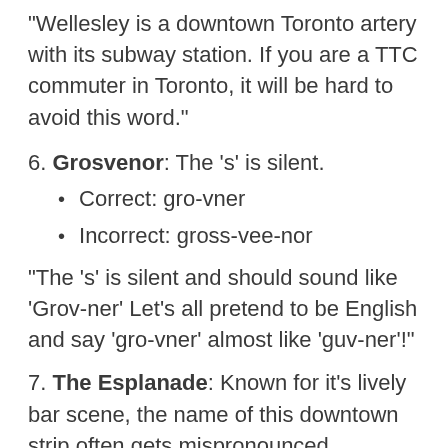“Wellesley is a downtown Toronto artery with its subway station. If you are a TTC commuter in Toronto, it will be hard to avoid this word.”
6. Grosvenor: The ‘s’ is silent.
Correct: gro-vner
Incorrect: gross-vee-nor
“The ‘s’ is silent and should sound like ‘Grov-ner’ Let's all pretend to be English and say ‘gro-vner’ almost like ‘guv-ner’!”
7. The Esplanade: Known for it's lively bar scene, the name of this downtown strip often gets mispronounced.
Correct: thuh esplan-aad
Incorrect: thuh esplan-AID